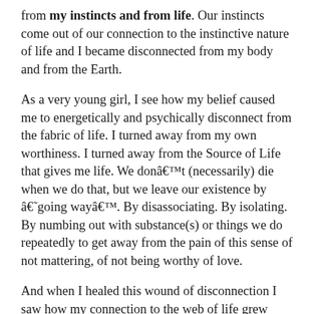from my instincts and from life. Our instincts come out of our connection to the instinctive nature of life and I became disconnected from my body and from the Earth.
As a very young girl, I see how my belief caused me to energetically and psychically disconnect from the fabric of life. I turned away from my own worthiness. I turned away from the Source of Life that gives me life. We donâ€™t (necessarily) die when we do that, but we leave our existence by â€˜going wayâ€™. By disassociating. By isolating. By numbing out with substance(s) or things we do repeatedly to get away from the pain of this sense of not mattering, of not being worthy of love.
And when I healed this wound of disconnection I saw how my connection to the web of life grew stronger.
Everything is interconnected in this web of life, but it is